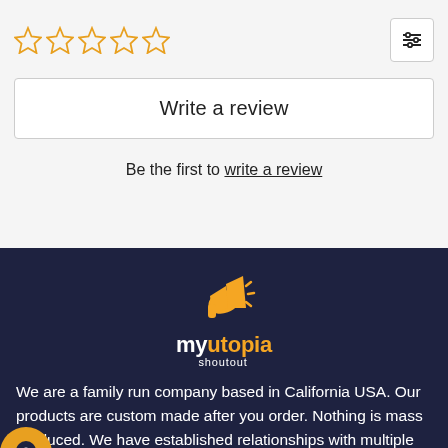[Figure (other): Five empty star rating icons in orange outline style, followed by a filter/sliders icon on the right]
Write a review
Be the first to write a review
[Figure (logo): myutopia shoutout logo with orange megaphone icon above text 'myutopia' (my in white, utopia in orange) and 'shoutout' in white below]
We are a family run company based in California USA. Our products are custom made after you order. Nothing is mass produced. We have established relationships with multiple production partners based in the USA and all over the